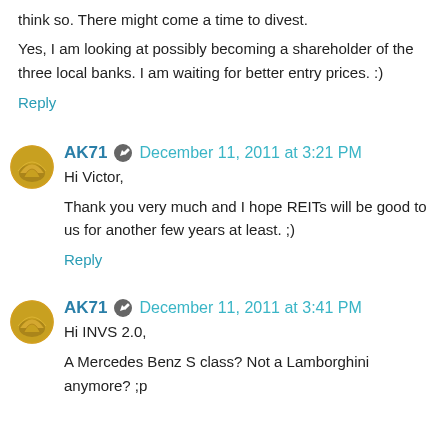think so. There might come a time to divest.
Yes, I am looking at possibly becoming a shareholder of the three local banks. I am waiting for better entry prices. :)
Reply
AK71  December 11, 2011 at 3:21 PM
Hi Victor,
Thank you very much and I hope REITs will be good to us for another few years at least. ;)
Reply
AK71  December 11, 2011 at 3:41 PM
Hi INVS 2.0,
A Mercedes Benz S class? Not a Lamborghini anymore? ;p